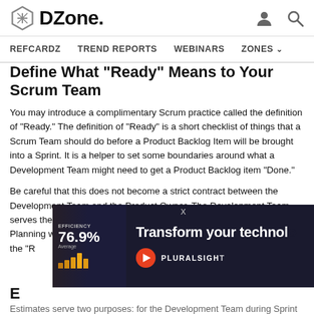DZone. REFCARDZ  TREND REPORTS  WEBINARS  ZONES
Define What "Ready" Means to Your Scrum Team
You may introduce a complimentary Scrum practice called the definition of "Ready." The definition of "Ready" is a short checklist of things that a Scrum Team should do before a Product Backlog Item will be brought into a Sprint. It is a helper to set some boundaries around what a Development Team might need to get a Product Backlog item "Done."
Be careful that this does not become a strict contract between the Development Team and the Product Owner. The Development Team serves the Product Owner. If the Product Owner comes to Sprint Planning with a very high-value Product Backlog Item that doesn't meet the "R...
[Figure (screenshot): Advertisement overlay: dark background with woman photo, efficiency stats (76.9%), bar chart, and 'Transform your techno...' text with Pluralsight branding]
E...
Estimates serve two purposes: for the Development Team during Sprint Planning to aid in forecasting how much to bring into a Sprint; and for the...